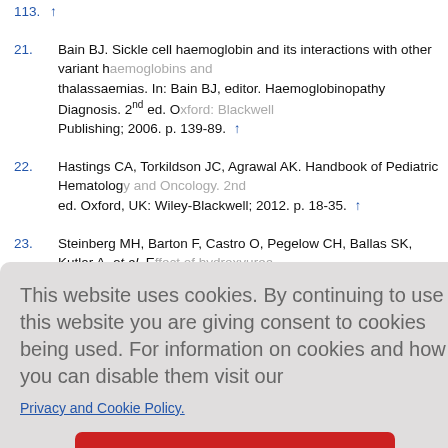113. ↑
21. Bain BJ. Sickle cell haemoglobin and its interactions with other variant haemoglobins and thalassaemias. In: Bain BJ, editor. Haemoglobinopathy Diagnosis. 2nd ed. Oxford: Blackwell Publishing; 2006. p. 139-89. ↑
22. Hastings CA, Torkildson JC, Agrawal AK. Handbook of Pediatric Hematology and Oncology. 2nd ed. Oxford, UK: Wiley-Blackwell; 2012. p. 18-35. ↑
23. Steinberg MH, Barton F, Castro O, Pegelow CH, Ballas SK, Kutlar A, et al. Effect of hydroxyurea on mortality and morbidity in adult sickle cell anemia: Risks and benefits up to 9 years of treatment. JAMA 2003;289:1645-51. ↑
This website uses cookies. By continuing to use this website you are giving consent to cookies being used. For information on cookies and how you can disable them visit our
Privacy and Cookie Policy.
AGREE & PROCEED